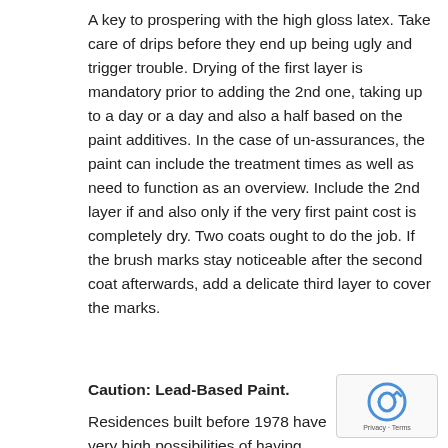A key to prospering with the high gloss latex. Take care of drips before they end up being ugly and trigger trouble. Drying of the first layer is mandatory prior to adding the 2nd one, taking up to a day or a day and also a half based on the paint additives. In the case of un-assurances, the paint can include the treatment times as well as need to function as an overview. Include the 2nd layer if and also only if the very first paint cost is completely dry. Two coats ought to do the job. If the brush marks stay noticeable after the second coat afterwards, add a delicate third layer to cover the marks.
Caution: Lead-Based Paint.
Residences built before 1978 have very high possibilities of having lead-based